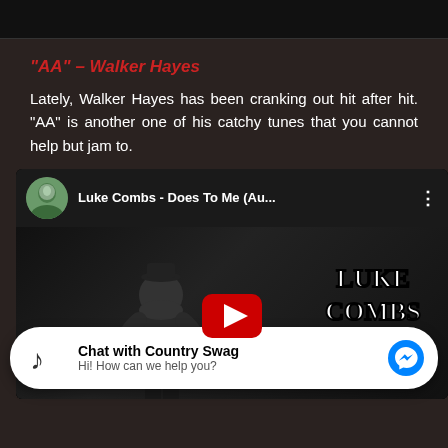[Figure (photo): Dark top image bar, partial screenshot background]
"AA" – Walker Hayes
Lately, Walker Hayes has been cranking out hit after hit. "AA" is another one of his catchy tunes that you cannot help but jam to.
[Figure (screenshot): YouTube embed showing Luke Combs - Does To Me (Au...) with Luke Combs branding and YouTube play button]
[Figure (infographic): Facebook Messenger chat widget overlay: Chat with Country Swag / Hi! How can we help you?]